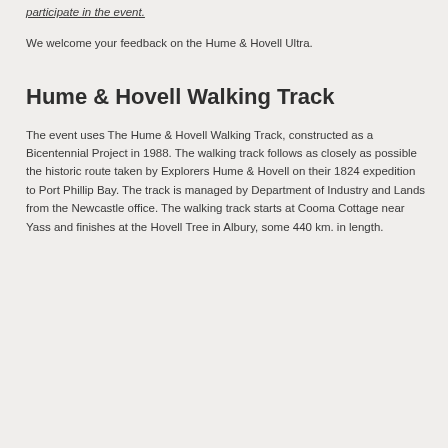participate in the event.
We welcome your feedback on the Hume & Hovell Ultra.
Hume & Hovell Walking Track
The event uses The Hume & Hovell Walking Track, constructed as a Bicentennial Project in 1988. The walking track follows as closely as possible the historic route taken by Explorers Hume & Hovell on their 1824 expedition to Port Phillip Bay. The track is managed by Department of Industry and Lands from the Newcastle office. The walking track starts at Cooma Cottage near Yass and finishes at the Hovell Tree in Albury, some 440 km. in length.